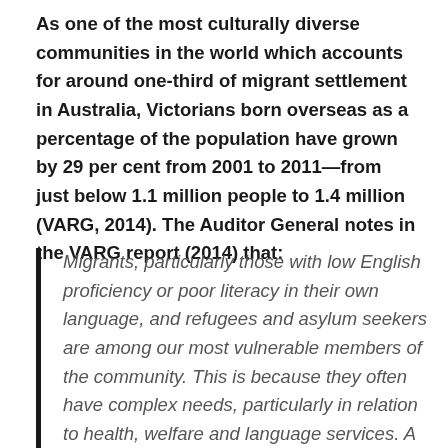As one of the most culturally diverse communities in the world which accounts for around one-third of migrant settlement in Australia, Victorians born overseas as a percentage of the population have grown by 29 per cent from 2001 to 2011—from just below 1.1 million people to 1.4 million (VARG, 2014). The Auditor General notes in the VARG report (2014) that:
Migrants, particularly those with low English proficiency or poor literacy in their own language, and refugees and asylum seekers are among our most vulnerable members of the community. This is because they often have complex needs, particularly in relation to health, welfare and language services. A whole-of-